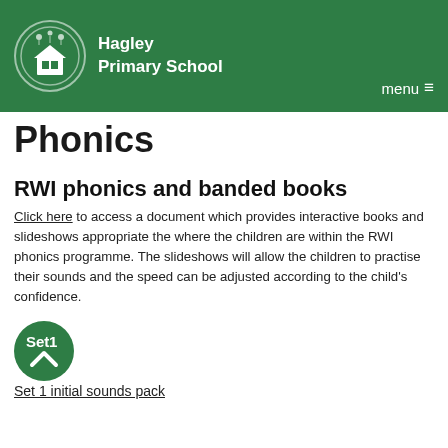Hagley Primary School
Phonics
RWI phonics and banded books
Click here to access a document which provides interactive books and slideshows appropriate the where the children are within the RWI phonics programme. The slideshows will allow the children to practise their sounds and the speed can be adjusted according to the child's confidence.
[Figure (logo): Green circular badge with Set 1 label and upward arrow]
Set 1 initial sounds pack